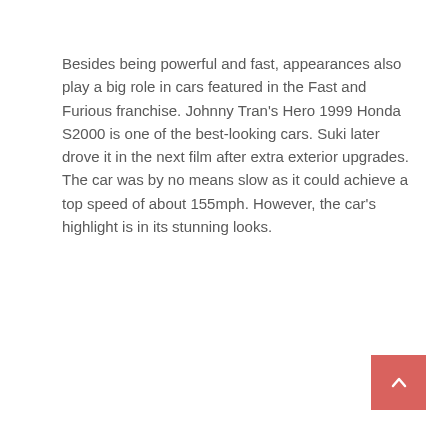Besides being powerful and fast, appearances also play a big role in cars featured in the Fast and Furious franchise. Johnny Tran's Hero 1999 Honda S2000 is one of the best-looking cars. Suki later drove it in the next film after extra exterior upgrades. The car was by no means slow as it could achieve a top speed of about 155mph. However, the car's highlight is in its stunning looks.
[Figure (other): Broken image placeholder labeled 'Honda S2000 Fast and Furious']
Honda S2000 Fast and Furious
Via S2ki